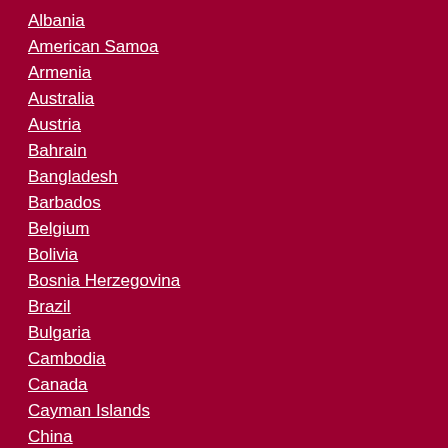Albania
American Samoa
Armenia
Australia
Austria
Bahrain
Bangladesh
Barbados
Belgium
Bolivia
Bosnia Herzegovina
Brazil
Bulgaria
Cambodia
Canada
Cayman Islands
China
Colombia
Croatia
Czech Republic
Denmark